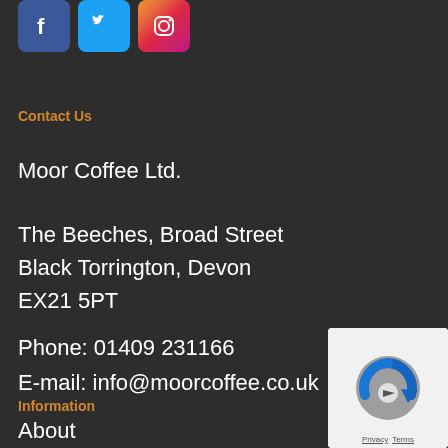[Figure (logo): Social media icons: Facebook (blue), Twitter (light blue), Instagram (gradient orange-pink)]
Contact Us
Moor Coffee Ltd.
The Beeches, Broad Street
Black Torrington, Devon
EX21 5PT
Phone: 01409 231166
E-mail: info@moorcoffee.co.uk
Information
About
[Figure (logo): Google reCAPTCHA badge with Privacy and Terms links]